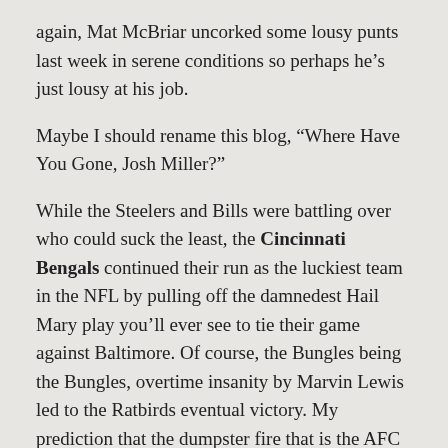again, Mat McBriar uncorked some lousy punts last week in serene conditions so perhaps he's just lousy at his job.
Maybe I should rename this blog, “Where Have You Gone, Josh Miller?”
While the Steelers and Bills were battling over who could suck the least, the Cincinnati Bengals continued their run as the luckiest team in the NFL by pulling off the damnedest Hail Mary play you’ll ever see to tie their game against Baltimore. Of course, the Bungles being the Bungles, overtime insanity by Marvin Lewis led to the Ratbirds eventual victory. My prediction that the dumpster fire that is the AFC North will be won by a 9-7 team is still very much alive.
Of course, none of this concerns the Steelers because